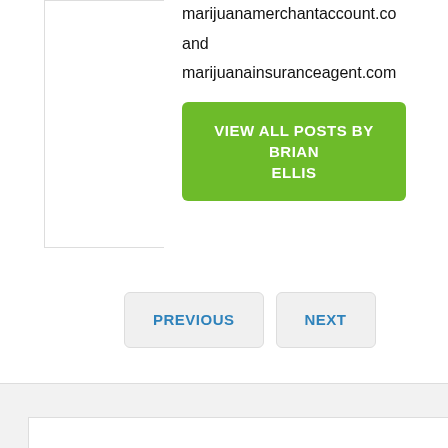marijuanamerchantaccount.co
and
marijuanainsuranceagent.com
VIEW ALL POSTS BY BRIAN ELLIS
PREVIOUS
NEXT